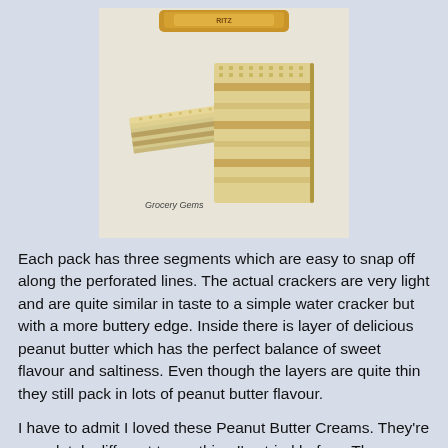[Figure (photo): Photo of peanut butter wafer/cracker biscuits - two layered wafer sandwich biscuits with peanut butter filling shown on a white surface, with a gold foil wrapper visible in the background. Watermark reads 'Grocery Gems'.]
Each pack has three segments which are easy to snap off along the perforated lines. The actual crackers are very light and are quite similar in taste to a simple water cracker but with a more buttery edge. Inside there is layer of delicious peanut butter which has the perfect balance of sweet flavour and saltiness. Even though the layers are quite thin they still pack in lots of peanut butter flavour.
I have to admit I loved these Peanut Butter Creams. They're completely different to anything I've tried before. These usually come in packs of 10 individual portions and can be found in many Asian grocery stores.